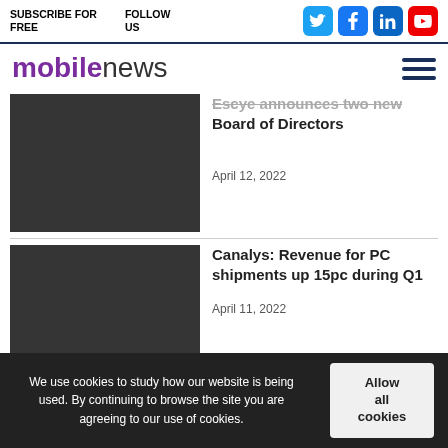SUBSCRIBE FOR FREE | FOLLOW US
mobilenews
Escye announces two new Board of Directors
April 12, 2022
Canalys: Revenue for PC shipments up 15pc during Q1
April 11, 2022
We use cookies to study how our website is being used. By continuing to browse the site you are agreeing to our use of cookies.
Allow all cookies